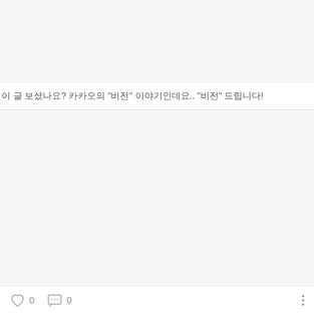이 글 보셨나요? 카카오의 "비전" 이야기인데요.. "비전" 드립니다!
0 likes  0 comments